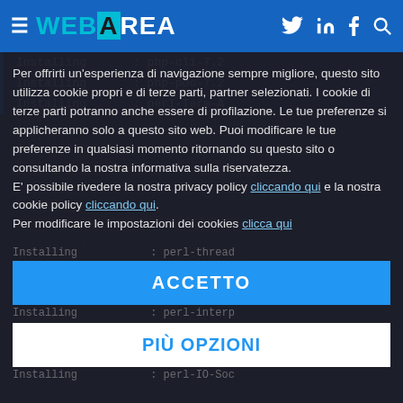WEBAREA (navigation header with hamburger menu, Twitter, LinkedIn, Facebook, Search icons)
[Figure (screenshot): Terminal/console output showing package installation lines: Installing : php-cli-7.2, Installing : php-pdo-7.2, Installing : perl-Term-A, and more partially visible lines]
Per offrirti un'esperienza di navigazione sempre migliore, questo sito utilizza cookie propri e di terze parti, partner selezionati. I cookie di terze parti potranno anche essere di profilazione. Le tue preferenze si applicheranno solo a questo sito web. Puoi modificare le tue preferenze in qualsiasi momento ritornando su questo sito o consultando la nostra informativa sulla riservatezza.
E' possibile rivedere la nostra privacy policy cliccando qui e la nostra cookie policy cliccando qui.
Per modificare le impostazioni dei cookies clicca qui
ACCETTO
PIÙ OPZIONI